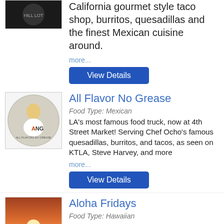[Figure (photo): Dark circular logo with text]
California gourmet style taco shop, burritos, quesadillas and the finest Mexican cuisine around.
more...
View Details
[Figure (logo): AFNG All Flavor No Grease circular logo with illustrated character]
All Flavor No Grease
Food Type: Mexican
LA's most famous food truck, now at 4th Street Market! Serving Chef Ocho's famous quesadillas, burritos, and tacos, as seen on KTLA, Steve Harvey, and more
more...
View Details
[Figure (photo): Sunset/sunrise photo with silhouette]
Aloha Fridays
Food Type: Hawaiian